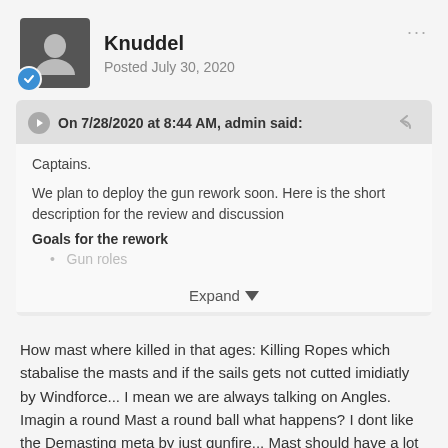Knuddel
Posted July 30, 2020
On 7/28/2020 at 8:44 AM, admin said:
Captains.

We plan to deploy the gun rework soon. Here is the short description for the review and discussion
Goals for the rework
Gun roles
Expand
How mast where killed in that ages: Killing Ropes which stabalise the masts and if the sails gets not cutted imidiatly by Windforce... I mean we are always talking on Angles. Imagin a round Mast a round ball what happens? I dont like the Demasting meta by just gunfire... Mast should have a lot more HP. I mean especialy on